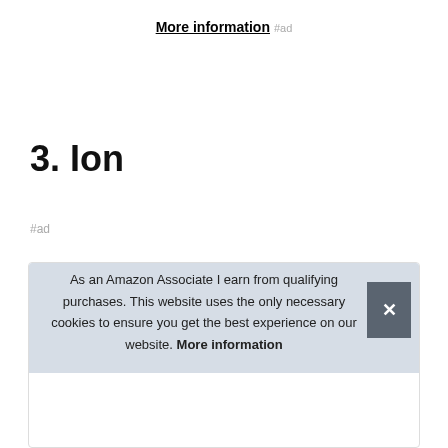More information #ad
3. Ion
#ad
[Figure (photo): Top-down view of an Ion electric lawn mower handlebar with green and black coloring, shown inside a product listing box]
As an Amazon Associate I earn from qualifying purchases. This website uses the only necessary cookies to ensure you get the best experience on our website. More information